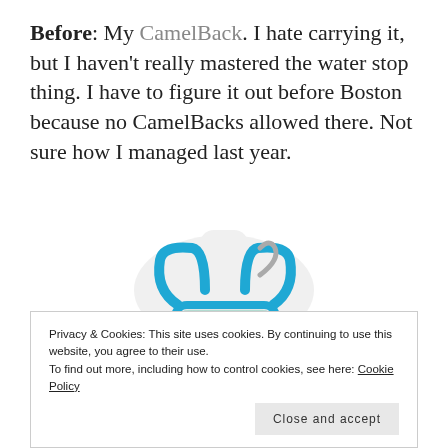Before: My CamelBack. I hate carrying it, but I haven't really mastered the water stop thing. I have to figure it out before Boston because no CamelBacks allowed there. Not sure how I managed last year.
[Figure (photo): A CamelBak hydration backpack displayed on a white mannequin torso, showing light blue/mint mesh back panel with blue straps and red/coral accents on the pack body.]
Privacy & Cookies: This site uses cookies. By continuing to use this website, you agree to their use. To find out more, including how to control cookies, see here: Cookie Policy
Close and accept